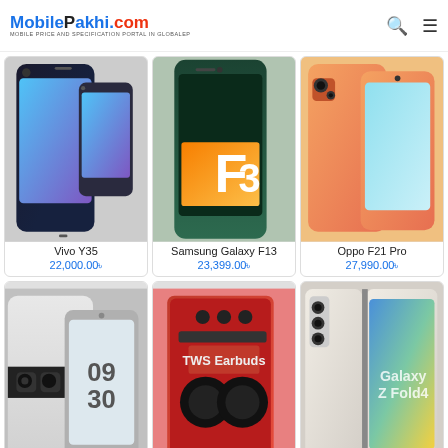MobilePakhi.com — Mobile Price and Specification Portal in GlobalEP
[Figure (photo): Vivo Y35 smartphone product image]
Vivo Y35
22,000.00৳
[Figure (photo): Samsung Galaxy F13 smartphone product image]
Samsung Galaxy F13
23,399.00৳
[Figure (photo): Oppo F21 Pro smartphone product image]
Oppo F21 Pro
27,990.00৳
[Figure (photo): Google Pixel 6a smartphone product image]
Google Pixel 6a
52,000.00৳
[Figure (photo): Ulefone Armor 15 rugged smartphone product image]
Ulefone Armor 15
30,000.00৳
[Figure (photo): Samsung Galaxy Z Fold4 5G foldable smartphone product image]
Samsung Galaxy Z Fold4 5G
180,000.00৳